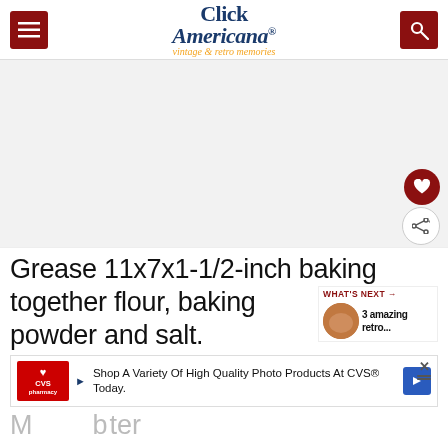Click Americana — vintage & retro memories
[Figure (screenshot): Blank/white image area placeholder]
Grease 11x7x1-1/2-inch baking together flour, baking powder and salt.
[Figure (infographic): WHAT'S NEXT → 3 amazing retro... widget with circular thumbnail]
[Figure (screenshot): CVS ad banner: Shop A Variety Of High Quality Photo Products At CVS® Today.]
M... b...ter